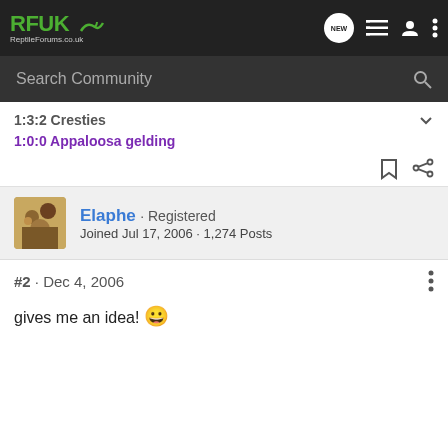RFUK ReptileForums.co.uk
Search Community
1:3:2 Cresties
1:0:0 Appaloosa gelding
Elaphe · Registered
Joined Jul 17, 2006 · 1,274 Posts
#2 · Dec 4, 2006
gives me an idea! 😀